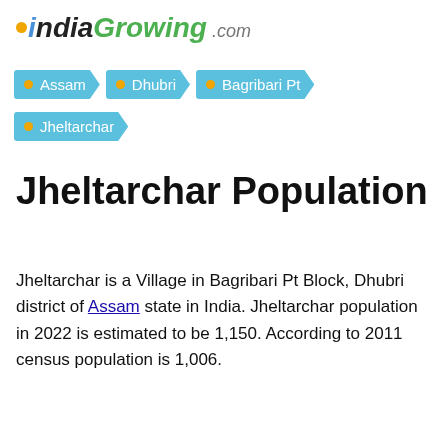indiaGrowing.com
Assam > Dhubri > Bagribari Pt > Jheltarchar
Jheltarchar Population
Jheltarchar is a Village in Bagribari Pt Block, Dhubri district of Assam state in India. Jheltarchar population in 2022 is estimated to be 1,150. According to 2011 census population is 1,006.